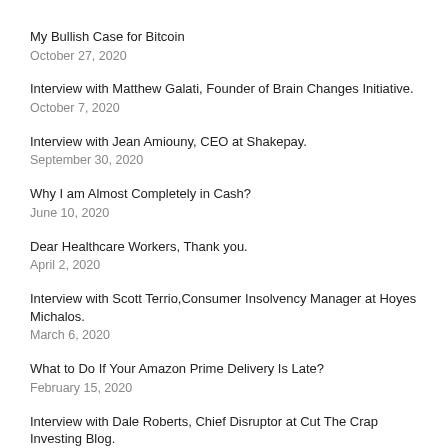My Bullish Case for Bitcoin
October 27, 2020
Interview with Matthew Galati, Founder of Brain Changes Initiative.
October 7, 2020
Interview with Jean Amiouny, CEO at Shakepay.
September 30, 2020
Why I am Almost Completely in Cash?
June 10, 2020
Dear Healthcare Workers, Thank you.
April 2, 2020
Interview with Scott Terrio,Consumer Insolvency Manager at Hoyes Michalos.
March 6, 2020
What to Do If Your Amazon Prime Delivery Is Late?
February 15, 2020
Interview with Dale Roberts, Chief Disruptor at Cut The Crap Investing Blog.
January 29, 2020